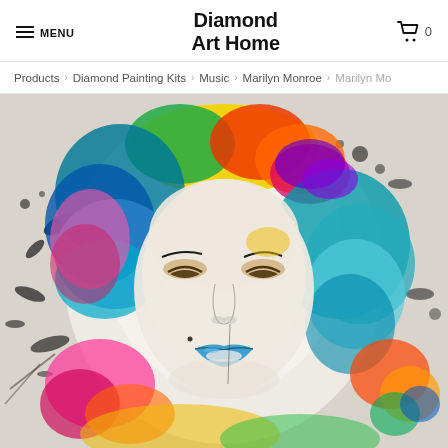MENU | Diamond Art Home | Cart 0
Products > Diamond Painting Kits > Music > Marilyn Monroe > Marilyn Mo
[Figure (photo): Colorful pop-art style portrait of Marilyn Monroe with rainbow-colored hair and blue lips, paint splatter effects on white background]